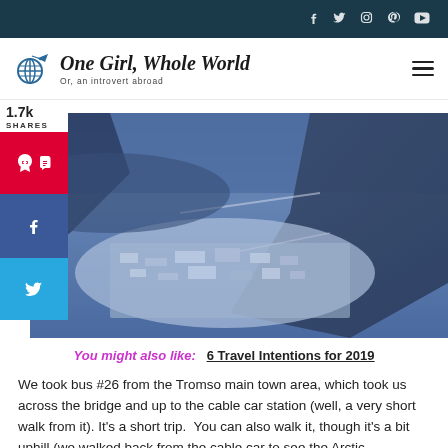Social icons: f, Twitter, Instagram, Pinterest, YouTube
[Figure (logo): One Girl, Whole World logo with globe and airplane icon. Subtitle: Or, an introvert abroad]
[Figure (photo): Aerial winter view of Tromso, Norway, showing snow-covered town, fjord, bridge, and mountains with blue tones]
You might also like: 6 Travel Intentions for 2019
We took bus #26 from the Tromso main town area, which took us across the bridge and up to the cable car station (well, a very short walk from it). It's a short trip.  You can also walk it, though it's a bit uphill (we walked back from the cable car to see the Arctic Cathedral).